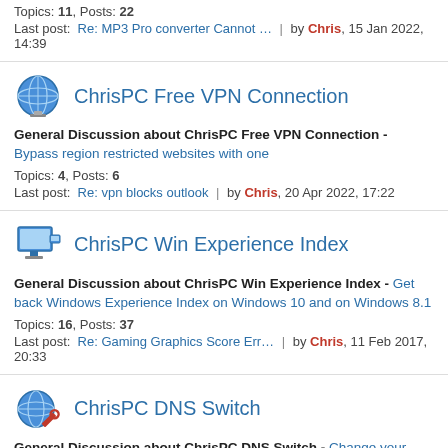Topics: 11, Posts: 22
Last post: Re: MP3 Pro converter Cannot … | by Chris, 15 Jan 2022, 14:39
ChrisPC Free VPN Connection
General Discussion about ChrisPC Free VPN Connection - Bypass region restricted websites with one
Topics: 4, Posts: 6
Last post: Re: vpn blocks outlook | by Chris, 20 Apr 2022, 17:22
ChrisPC Win Experience Index
General Discussion about ChrisPC Win Experience Index - Get back Windows Experience Index on Windows 10 and on Windows 8.1
Topics: 16, Posts: 37
Last post: Re: Gaming Graphics Score Err… | by Chris, 11 Feb 2017, 20:33
ChrisPC DNS Switch
General Discussion about ChrisPC DNS Switch - Change your computer DNS fast and safe
Topics: 8, Posts: 17
Last post: No switch, but no error | by freebo, 11 May 2021, 10:06